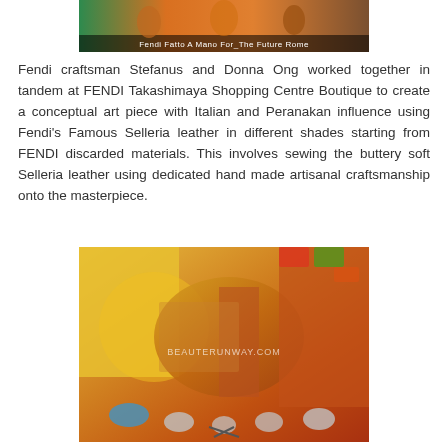[Figure (photo): Photo from Fendi Fatto A Mano For The Future Rome event showing people in orange clothing, with a caption overlay reading 'Fendi Fatto A Mano For_The Future Rome']
Fendi craftsman Stefanus and Donna Ong worked together in tandem at FENDI Takashimaya Shopping Centre Boutique to create a conceptual art piece with Italian and Peranakan influence using Fendi's Famous Selleria leather in different shades starting from FENDI discarded materials. This involves sewing the buttery soft Selleria leather using dedicated hand made artisanal craftsmanship onto the masterpiece.
[Figure (photo): Close-up photo of a Peranakan-inspired leather art piece being created with Fendi Selleria leather in orange and gold tones, with various craft tools visible. Watermark reads BEAUTERUNWAY.COM]